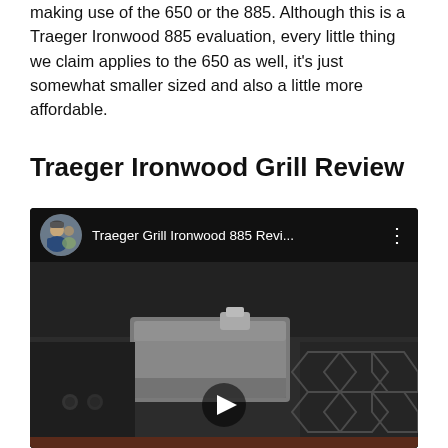making use of the 650 or the 885. Although this is a Traeger Ironwood 885 evaluation, every little thing we claim applies to the 650 as well, it's just somewhat smaller sized and also a little more affordable.
Traeger Ironwood Grill Review
[Figure (screenshot): Embedded YouTube video player showing Traeger Grill Ironwood 885 review. Top bar shows channel avatar, video title 'Traeger Grill Ironwood 885 Revi...' and three-dot menu. Video content shows close-up of grill grates and metal components. Play button visible at center-bottom.]